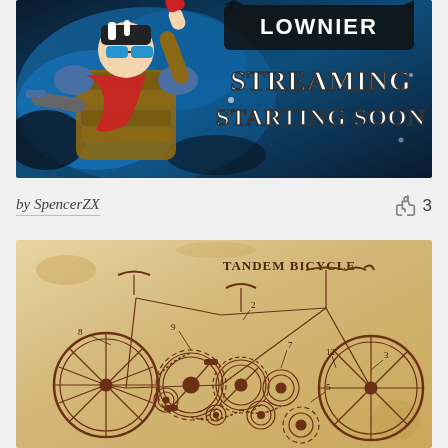[Figure (illustration): Streaming banner artwork featuring a stylized cartoon character in armor/combat gear with sunglasses, blue and dark background, text reads 'STREAMING STARTING SOON' with a logo at top.]
by SpencerZX
3
[Figure (engineering-diagram): Vintage-style exploded engineering diagram of a tandem bicycle on aged parchment background, labeled 'TANDEM BICYCLE' with numbered parts (2, 3, 5, 7, 8, 9, 12) showing gears, chains, wheels, seats, and frame components.]